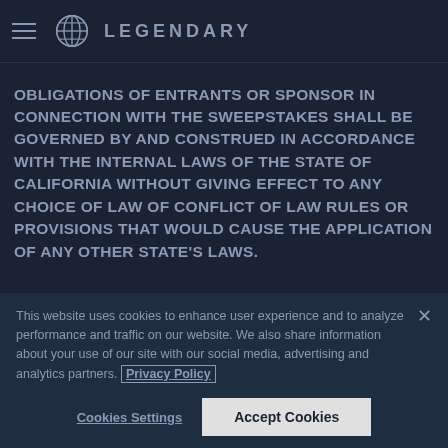LEGENDARY
OBLIGATIONS OF ENTRANTS OR SPONSOR IN CONNECTION WITH THE SWEEPSTAKES SHALL BE GOVERNED BY AND CONSTRUED IN ACCORDANCE WITH THE INTERNAL LAWS OF THE STATE OF CALIFORNIA WITHOUT GIVING EFFECT TO ANY CHOICE OF LAW OF CONFLICT OF LAW RULES OR PROVISIONS THAT WOULD CAUSE THE APPLICATION OF ANY OTHER STATE'S LAWS.
This website uses cookies to enhance user experience and to analyze performance and traffic on our website. We also share information about your use of our site with our social media, advertising and analytics partners. Privacy Policy
Cookies Settings | Accept Cookies